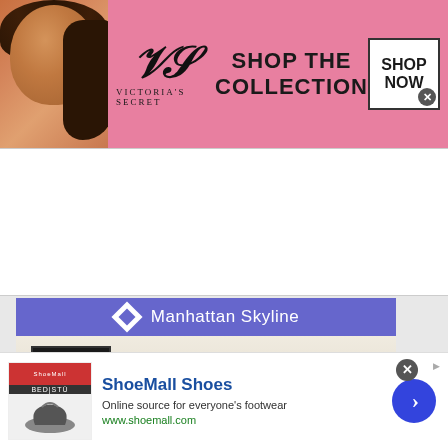[Figure (illustration): Victoria's Secret banner ad with woman model on left, VS logo in center, 'SHOP THE COLLECTION' text, and 'SHOP NOW' button on right]
[Figure (illustration): Manhattan Skyline apartment ad showing a room interior with wall-mounted TV, windows, and white molding, with purple header bar and logo]
[Figure (illustration): ShoeMall Shoes Google ad with shoe product image on left, title 'ShoeMall Shoes', description 'Online source for everyone's footwear', URL 'www.shoemall.com', and blue arrow button on right]